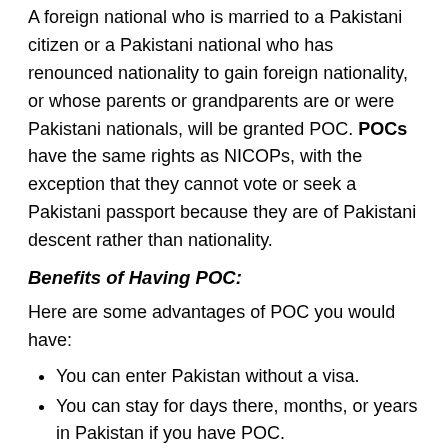A foreign national who is married to a Pakistani citizen or a Pakistani national who has renounced nationality to gain foreign nationality, or whose parents or grandparents are or were Pakistani nationals, will be granted POC. POCs have the same rights as NICOPs, with the exception that they cannot vote or seek a Pakistani passport because they are of Pakistani descent rather than nationality.
Benefits of Having POC:
Here are some advantages of POC you would have:
You can enter Pakistan without a visa.
You can stay for days there, months, or years in Pakistan if you have POC.
Having POC allows you to buy and sell the property.